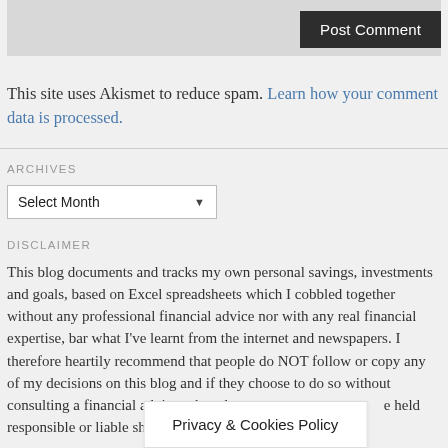[Figure (screenshot): Comment textarea box (gray background) with a dark 'Post Comment' button at bottom right]
This site uses Akismet to reduce spam. Learn how your comment data is processed.
ARCHIVES
Select Month (dropdown)
DISCLAIMER
This blog documents and tracks my own personal savings, investments and goals, based on Excel spreadsheets which I cobbled together without any professional financial advice nor with any real financial expertise, bar what I've learnt from the internet and newspapers. I therefore heartily recommend that people do NOT follow or copy any of my decisions on this blog and if they choose to do so without consulting a financial advisor, they do so ... held responsible or liable should ...
Privacy & Cookies Policy